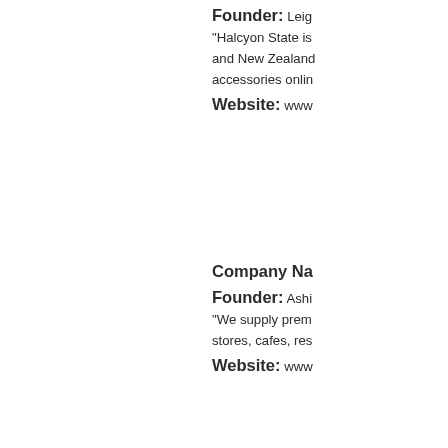Founder: Leig... "Halcyon State is... and New Zealand... accessories onlin... Website: www...
Company Na... Founder: Ashi... "We supply prem... stores, cafes, res... Website: www...
Company Na... Founders: Stu... "HRnet provides ... business sector t... Website: www...
Company Na... Founders: Rob... "We produce res...